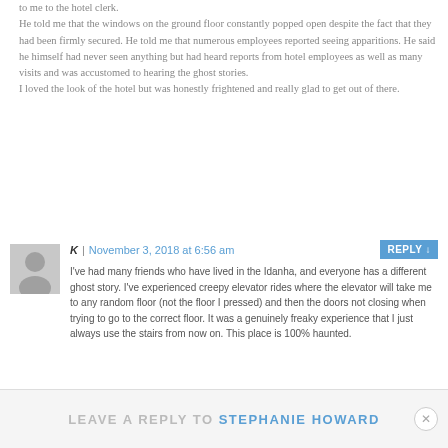to me to the hotel clerk. He told me that the windows on the ground floor constantly popped open despite the fact that they had been firmly secured. He told me that numerous employees reported seeing apparitions. He said he himself had never seen anything but had heard reports from hotel employees as well as many visits and was accustomed to hearing the ghost stories. I loved the look of the hotel but was honestly frightened and really glad to get out of there.
K | November 3, 2018 at 6:56 am [REPLY] I've had many friends who have lived in the Idanha, and everyone has a different ghost story. I've experienced creepy elevator rides where the elevator will take me to any random floor (not the floor I pressed) and then the doors not closing when trying to go to the correct floor. It was a genuinely freaky experience that I just always use the stairs from now on. This place is 100% haunted.
LEAVE A REPLY TO STEPHANIE HOWARD